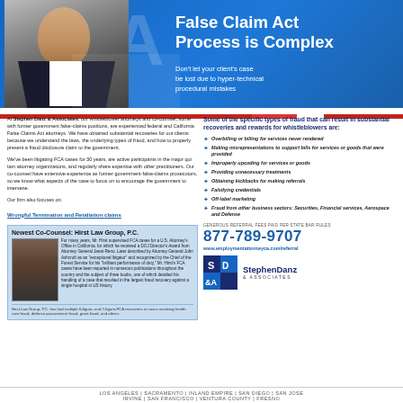[Figure (photo): Blue banner with FCA letters, photo of man in suit, law firm advertisement header]
False Claim Act Process is Complex
Don't let your client's case be lost due to hyper-technical procedural mistakes
At Stephen Danz & Associates, our whistleblower attorneys and co-counsel, some with former government false-claims positions, are experienced federal and California False Claims Act attorneys. We have obtained substantial recoveries for our clients because we understand the laws, the underlying types of fraud, and how to properly present a fraud disclosure claim to the government.
We've been litigating FCA cases for 30 years, are active participants in the major qui tam attorney organizations, and regularly share expertise with other practitioners. Our co-counsel have extensive experience as former government-false-claims prosecutors, so we know what aspects of the case to focus on to encourage the government to intervene.
Our firm also focuses on:
Wrongful Termination and Retaliation claims
Newest Co-Counsel: Hirst Law Group, P.C.
For many years, Mr. Hirst supervised FCA cases for a U.S. Attorney's Office in California, for which he received a DOJ Director's Award from Attorney General Janet Reno. Later described by Attorney General John Ashcroft as an 'exceptional litigator' and recognized by the Chief of the Forest Service for his 'brilliant performance of duty,' Mr. Hirst's FCA cases have been reported in numerous publications throughout the country and the subject of three books, one of which detailed his handling of a case that resulted in the largest fraud recovery against a single hospital in US history.
Hirst Law Group, P.C. has had multiple 6-figure- and 7-figure-FCA recoveries in cases involving health care fraud, defense procurement fraud, grant fraud, and others.
Some of the specific types of fraud that can result in substantial recoveries and rewards for whistleblowers are:
Overbilling or billing for services never rendered
Making misrepresentations to support bills for services or goods that were provided
Improperly upcoding for services or goods
Providing unnecessary treatments
Obtaining kickbacks for making referrals
Falsifying credentials
Off-label marketing
Fraud from other business sectors: Securities, Financial services, Aerospace and Defense
GENEROUS REFERRAL FEES PAID PER STATE BAR RULES
877-789-9707
www.employmentattorneyca.com/referral
[Figure (logo): Stephen Danz & Associates SD&A logo]
LOS ANGELES | SACRAMENTO | INLAND EMPIRE | SAN DIEGO | SAN JOSE IRVINE | SAN FRANCISCO | VENTURA COUNTY | FRESNO